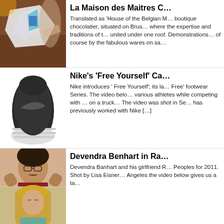[Figure (photo): Person holding origami-like paper folded object with digital screen, blurred motion]
La Maison des Maitres C…
Translated as 'House of the Belgian M… boutique chocolatier, situated on Brus… where the expertise and traditions of t… united under one roof. Demonstrations… of course by the fabulous wares on sa…
[Figure (photo): Nike black Free sneaker shoe sole view on white background]
Nike's 'Free Yourself' Ca…
Nike introduces ' Free Yourself';  its la… Free' footwear Series. The video belo… various athletes while competing with … on a truck…  The video was shot in Se… has previously worked with Nike […]
[Figure (photo): Two cropped portrait photos: top shows man with glasses and mustache hands behind head; bottom shows woman with long blonde hair]
Devendra Benhart in Ra…
Devendra Banhart and his girlfriend R… Peoples for 2011. Shot by Lisa Eisner… Angeles the video below gives us a ta…